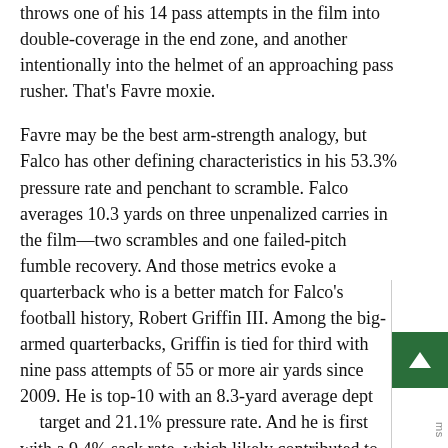throws one of his 14 pass attempts in the film into double-coverage in the end zone, and another intentionally into the helmet of an approaching pass rusher. That's Favre moxie.
Favre may be the best arm-strength analogy, but Falco has other defining characteristics in his 53.3% pressure rate and penchant to scramble. Falco averages 10.3 yards on three unpenalized carries in the film—two scrambles and one failed-pitch fumble recovery. And those metrics evoke a quarterback who is a better match for Falco's football history, Robert Griffin III. Among the big-armed quarterbacks, Griffin is tied for third with nine pass attempts of 55 or more air yards since 2009. He is top-10 with an 8.3-yard average depth of target and 21.1% pressure rate. And he is first with a 9.4% sack rate, which likely contributed to the three concussions that, along with several knee and ankle injuries, derailed his professional career